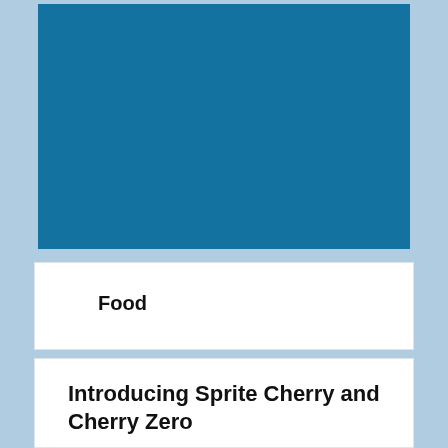[Figure (illustration): Solid blue rectangle representing a product image placeholder with a teal/steel blue color (#1472a0)]
Food
Introducing Sprite Cherry and Cherry Zero